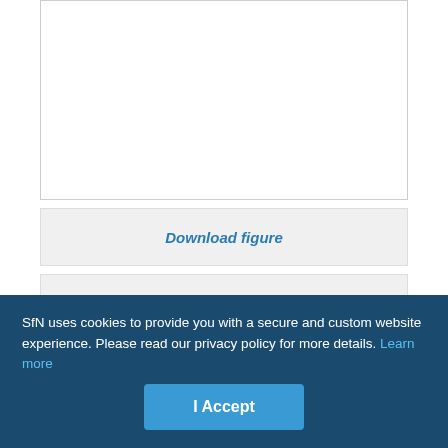[Figure (other): White figure panel area (top portion of figure cut off)]
Download figure
Open in new tab
Download powerpoint
Figure 6. Aβ oligomer-induced decreases in spine density require active calcineurin and cofilin. A, Images of representative dendrites from neurons
SfN uses cookies to provide you with a secure and custom website experience. Please read our privacy policy for more details. Learn more
I Accept